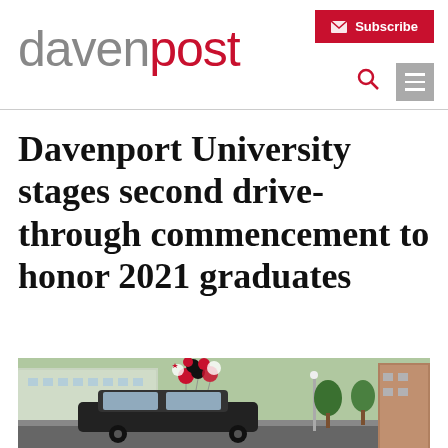davenpost — Subscribe | Search | Menu
Davenport University stages second drive-through commencement to honor 2021 graduates
[Figure (photo): Cars decorated with balloons driving through campus for Davenport University drive-through commencement ceremony]